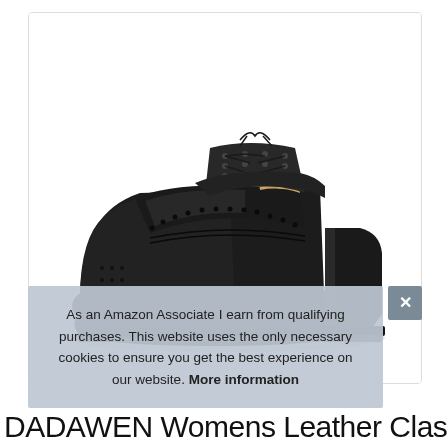[Figure (photo): Black women's leather classic oxford brogue shoe with block heel and lace-up front, shown at an angle on white background]
As an Amazon Associate I earn from qualifying purchases. This website uses the only necessary cookies to ensure you get the best experience on our website. More information
DADAWEN Womens Leather Classic